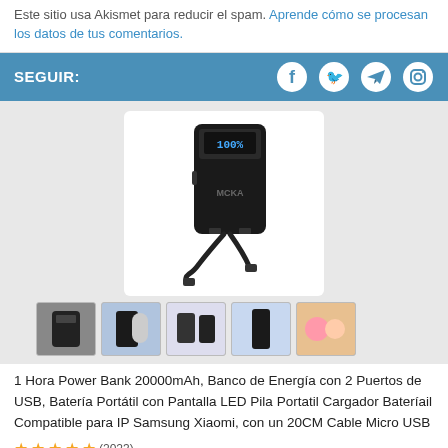Este sitio usa Akismet para reducir el spam. Aprende cómo se procesan los datos de tus comentarios.
SEGUIR:
[Figure (photo): Product image of a black 20000mAh power bank with USB cable, shown on white background]
[Figure (photo): Row of 5 product thumbnail images showing the power bank from different angles and usage scenarios]
1 Hora Power Bank 20000mAh, Banco de Energía con 2 Puertos de USB, Batería Portátil con Pantalla LED Pila Portatil Cargador Bateríail Compatible para IP Samsung Xiaomi, con un 20CM Cable Micro USB
★★★★★ (2023) ...